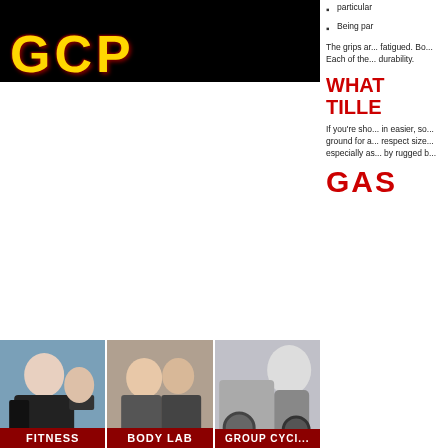[Figure (photo): Gym logo on black background with gold letters]
particular
Being par
The grips ar... fatigued. Bo... Each of the... durability.
WHAT TILLE
If you're sho... in easier, so... ground for a... respect size... especially as... by rugged b...
HOME
CHI SIAMO
ORARI
GALLERY
PRESS AREA
[Figure (photo): FITNESS - person doing floor exercise]
[Figure (photo): BODY LAB - trainer with client]
[Figure (photo): GROUP CYCLING - cycling equipment]
GAS